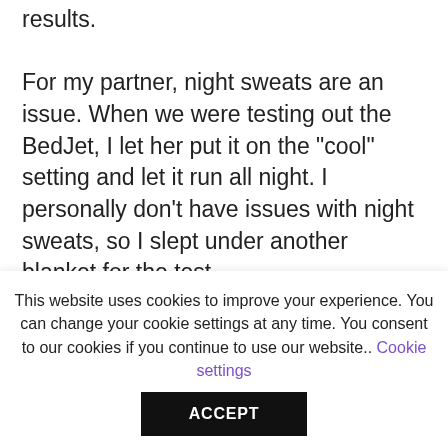results.
For my partner, night sweats are an issue. When we were testing out the BedJet, I let her put it on the "cool" setting and let it run all night. I personally don't have issues with night sweats, so I slept under another blanket for the test.
The next morning, she said the BedJet kept her cool enough that she was able to stay under the
This website uses cookies to improve your experience. You can change your cookie settings at any time. You consent to our cookies if you continue to use our website.. Cookie settings
ACCEPT